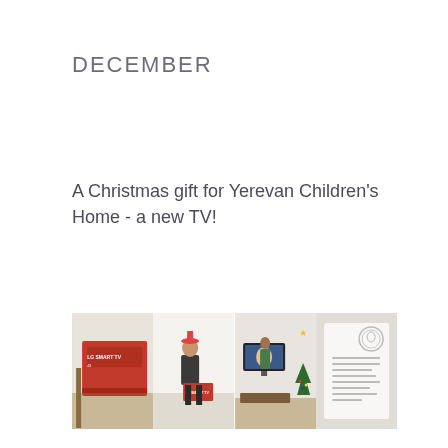DECEMBER
A Christmas gift for Yerevan Children's Home - a new TV!
[Figure (photo): Four-panel photo strip showing: (1) LG Smart TV box on floor, (2) person posing with TV box, (3) TV mounted on wall with Christmas tree, (4) a document/letter with a circular seal]